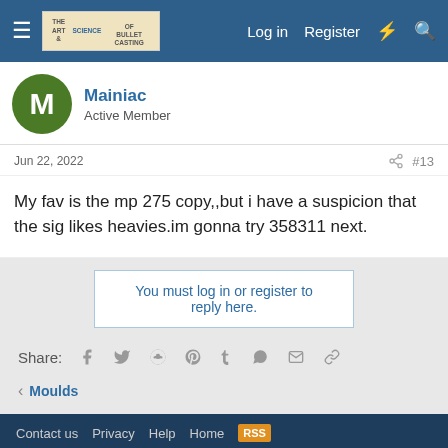Log in  Register
Mainiac
Active Member
Jun 22, 2022  #13
My fav is the mp 275 copy,,but i have a suspicion that the sig likes heavies.im gonna try 358311 next.
You must log in or register to reply here.
Share:
Moulds
Contact us  Privacy  Help  Home
Community platform by XenForo® © 2010-2021 XenForo Ltd. Copyright (C) 2014 The Art and Science of Bullet Casting